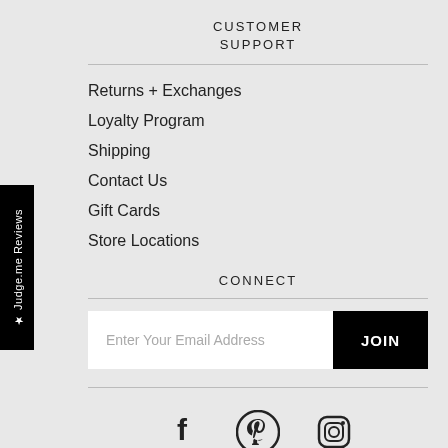CUSTOMER SUPPORT
Returns + Exchanges
Loyalty Program
Shipping
Contact Us
Gift Cards
Store Locations
CONNECT
Enter Your Email Address
JOIN
[Figure (infographic): Social media icons: Facebook, Pinterest, Instagram]